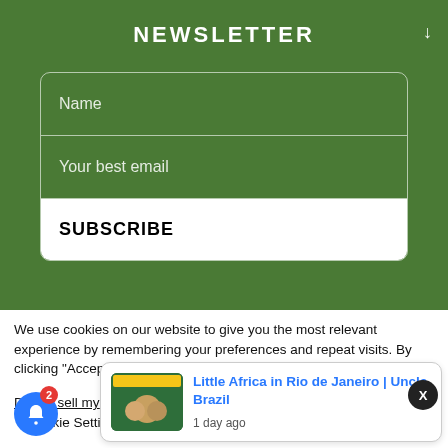NEWSLETTER
Name
Your best email
SUBSCRIBE
We use cookies on our website to give you the most relevant experience by remembering your preferences and repeat visits. By clicking "Accept", you consent to the use of ALL the cookies.
Do not sell my
okie Settings
2
X
Little Africa in Rio de Janeiro | Uncle Brazil
1 day ago